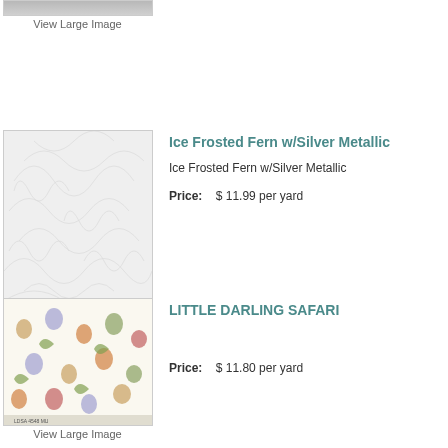[Figure (photo): Partial top fabric image, cropped]
View Large Image
[Figure (photo): Ice Frosted Fern with Silver Metallic fabric texture - light gray/white botanical pattern]
Ice Frosted Fern w/Silver Metallic
Ice Frosted Fern w/Silver Metallic
Price:   $ 11.99 per yard
View Large Image
[Figure (photo): Little Darling Safari fabric - white background with colorful safari animals]
LITTLE DARLING SAFARI
Price:   $ 11.80 per yard
View Large Image